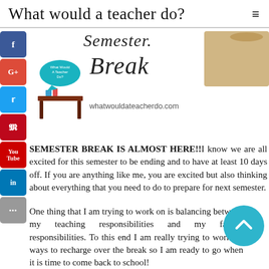What would a teacher do?
[Figure (illustration): Blog header image with 'Semester Break' text, a teacher desk logo with 'What Would A Teacher Do?' speech bubble, a bag illustration on the right, and website URL whatwouldateacherdo.com]
SEMESTER BREAK IS ALMOST HERE!! know we are all excited for this semester to be ending and to have at least 10 days off. If you are anything like me, you are excited but also thinking about everything that you need to do to prepare for next semester.
One thing that I am trying to work on is balancing between my teaching responsibilities and my family responsibilities. To this end I am really trying to work on ways to recharge over the break so I am ready to go when it is time to come back to school!